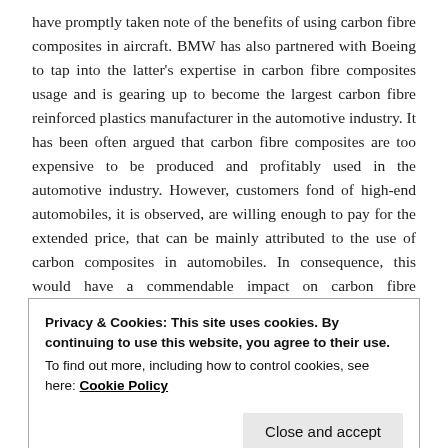have promptly taken note of the benefits of using carbon fibre composites in aircraft. BMW has also partnered with Boeing to tap into the latter's expertise in carbon fibre composites usage and is gearing up to become the largest carbon fibre reinforced plastics manufacturer in the automotive industry. It has been often argued that carbon fibre composites are too expensive to be produced and profitably used in the automotive industry. However, customers fond of high-end automobiles, it is observed, are willing enough to pay for the extended price, that can be mainly attributed to the use of carbon composites in automobiles. In consequence, this would have a commendable impact on carbon fibre composites industry share from the automotive domain. It is also prudent to mention that the use of carbon fibres can reduce the cost of production down the line, thus offsetting the upfront material cost of the raw
Privacy & Cookies: This site uses cookies. By continuing to use this website, you agree to their use.
To find out more, including how to control cookies, see here: Cookie Policy
Close and accept
North America and Europe, with their large aerospace and automobile industries will be the key regions as compared to the